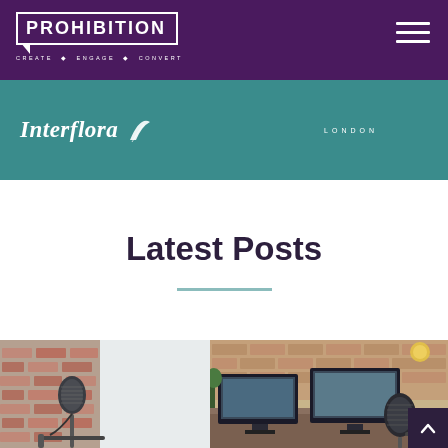PROHIBITION · CREATE · ENGAGE · CONVERT
[Figure (logo): Interflora logo with decorative flourish on teal banner, LONDON text on right]
Latest Posts
[Figure (photo): Two side-by-side photos showing podcast microphone setups in studio environments with brick walls and computer equipment]